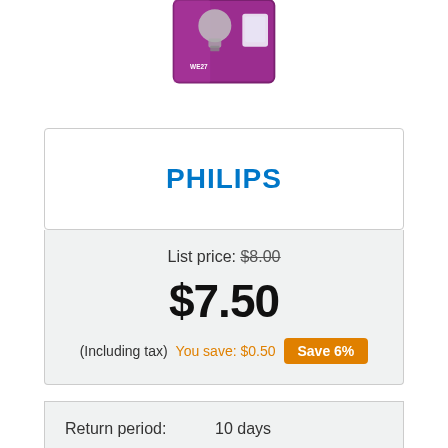[Figure (photo): Product image of a Philips light bulb in purple packaging, partially cropped at top of page]
PHILIPS
List price: $8.00
$7.50
(Including tax) You save: $0.50 Save 6%
Return period:    10 days
CODE    929004884469